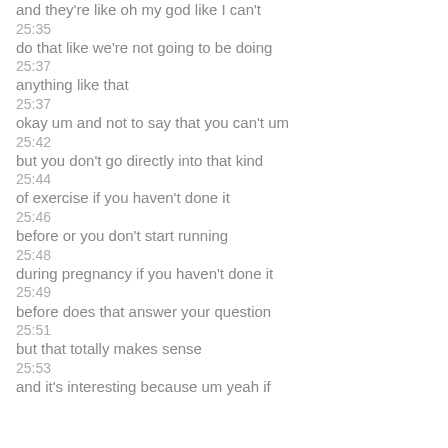and they're like oh my god like I can't
25:35
do that like we're not going to be doing
25:37
anything like that
25:37
okay um and not to say that you can't um
25:42
but you don't go directly into that kind
25:44
of exercise if you haven't done it
25:46
before or you don't start running
25:48
during pregnancy if you haven't done it
25:49
before does that answer your question
25:51
but that totally makes sense
25:53
and it's interesting because um yeah if